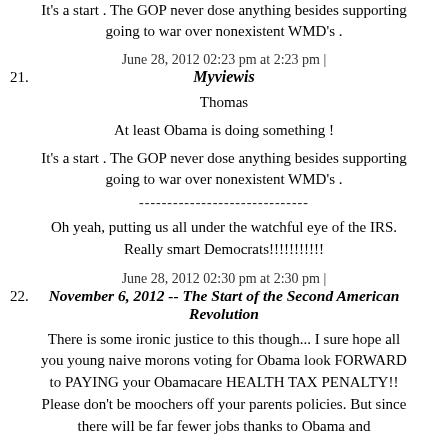It's a start . The GOP never dose anything besides supporting going to war over nonexistent WMD's .
June 28, 2012 02:23 pm at 2:23 pm |
21. Myviewis
Thomas
At least Obama is doing something !
It's a start . The GOP never dose anything besides supporting going to war over nonexistent WMD's .
------------------------------
Oh yeah, putting us all under the watchful eye of the IRS. Really smart Democrats!!!!!!!!!!!
June 28, 2012 02:30 pm at 2:30 pm |
22. November 6, 2012 -- The Start of the Second American Revolution
There is some ironic justice to this though... I sure hope all you young naive morons voting for Obama look FORWARD to PAYING your Obamacare HEALTH TAX PENALTY!! Please don't be moochers off your parents policies. But since there will be far fewer jobs thanks to Obama and